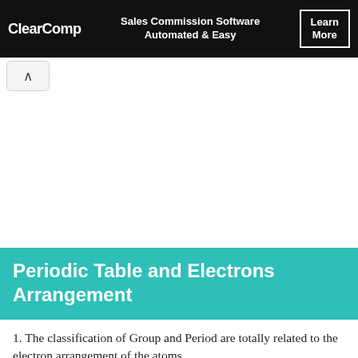[Figure (other): Advertisement banner for ClearComp Sales Commission Software with 'Learn More' button on black background]
Periodic Table and Electrons Arrangement
1. The classification of Group and Period are totally related to the electron arrangement of the atoms.